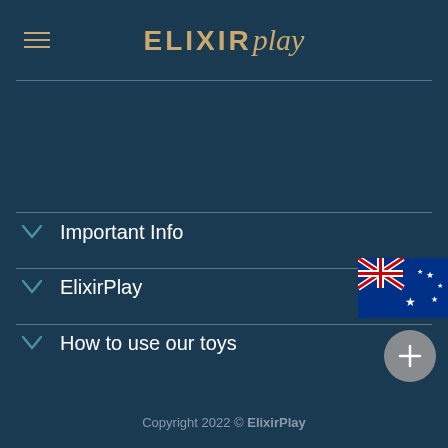ELIXIRplay
Important Info
ElixirPlay
How to use our toys
[Figure (illustration): Australian flag in the top-right corner of the ElixirPlay menu item]
Copyright 2022 © ElixirPlay